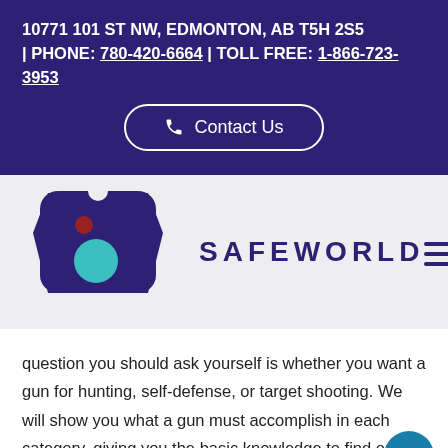10771 101 ST NW, EDMONTON, AB T5H 2S5 | PHONE: 780-420-6664 | TOLL FREE: 1-866-723-3953
[Figure (other): Contact Us button with phone icon, rounded pill shape, white border on dark purple background]
[Figure (logo): Safeworld logo: dark purple tag/shield shape with red and teal circles, text SAFEWORLD in bold dark purple letters with wide letter spacing]
question you should ask yourself is whether you want a gun for hunting, self-defense, or target shooting. We will show you what a gun must accomplish in each category, giving you the basic knowledge to find out more information about which gun is right for you.